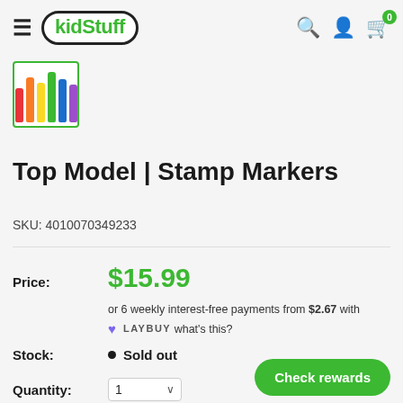kidStuff — navigation header with hamburger menu, logo, search, account, cart (0)
[Figure (photo): Thumbnail image of colorful stamp markers in green border frame]
Top Model | Stamp Markers
SKU: 4010070349233
Price: $15.99
or 6 weekly interest-free payments from $2.67 with LAYBUY what's this?
Stock: Sold out
Quantity: 1